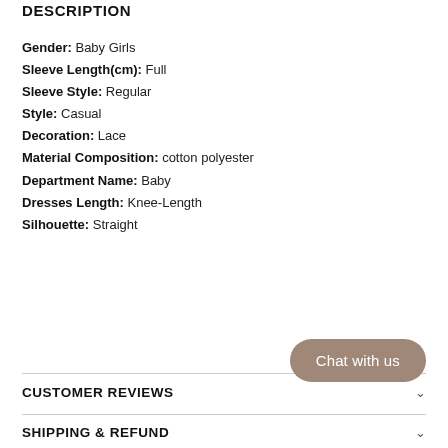DESCRIPTION
Gender: Baby Girls
Sleeve Length(cm): Full
Sleeve Style: Regular
Style: Casual
Decoration: Lace
Material Composition: cotton polyester
Department Name: Baby
Dresses Length: Knee-Length
Silhouette: Straight
CUSTOMER REVIEWS
SHIPPING & REFUND